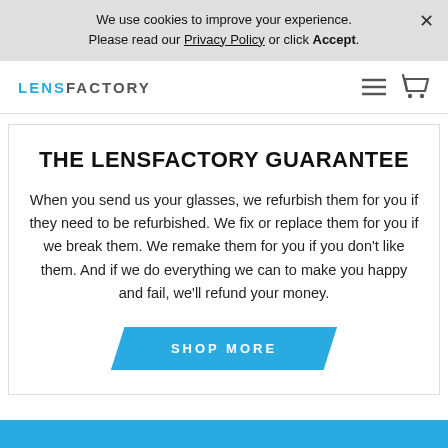We use cookies to improve your experience. Please read our Privacy Policy or click Accept.
LENSFACTORY
THE LENSFACTORY GUARANTEE
When you send us your glasses, we refurbish them for you if they need to be refurbished. We fix or replace them for you if we break them. We remake them for you if you don't like them. And if we do everything we can to make you happy and fail, we'll refund your money.
SHOP MORE